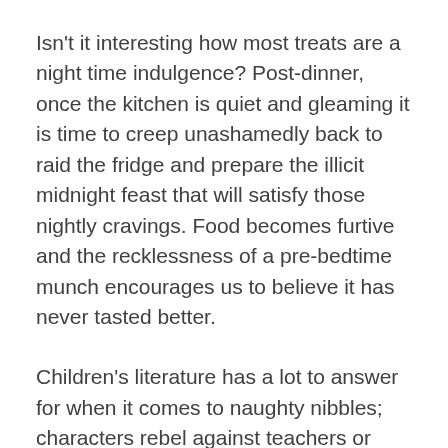Isn't it interesting how most treats are a night time indulgence? Post-dinner, once the kitchen is quiet and gleaming it is time to creep unashamedly back to raid the fridge and prepare the illicit midnight feast that will satisfy those nightly cravings. Food becomes furtive and the recklessness of a pre-bedtime munch encourages us to believe it has never tasted better.
Children's literature has a lot to answer for when it comes to naughty nibbles; characters rebel against teachers or parents by smuggling food into their dormitories for midnight feasts or picnics out of sight of the adults. The diet of literature on which children are raised include Famous Five, Malory